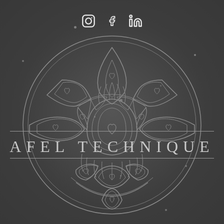[Figure (logo): Social media icons: Instagram, Facebook, LinkedIn in white/light gray on dark background]
[Figure (illustration): Mandala-style circular decorative logo with floral and heart motifs, rendered in gray outline on dark gray background]
AFEL TECHNIQUE